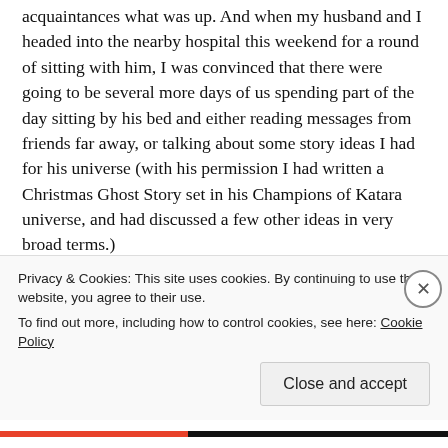acquaintances what was up. And when my husband and I headed into the nearby hospital this weekend for a round of sitting with him, I was convinced that there were going to be several more days of us spending part of the day sitting by his bed and either reading messages from friends far away, or talking about some story ideas I had for his universe (with his permission I had written a Christmas Ghost Story set in his Champions of Katara universe, and had discussed a few other ideas in very broad terms.)
This is not the first time I have sat at the bedside of someone I knew and loved who was heading toward what the doctors all said was the end. But on Saturday I was still
Privacy & Cookies: This site uses cookies. By continuing to use this website, you agree to their use. To find out more, including how to control cookies, see here: Cookie Policy
Close and accept